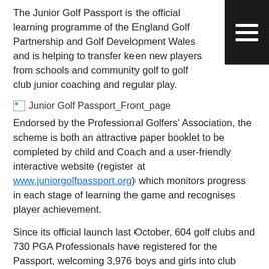The Junior Golf Passport is the official learning programme of the England Golf Partnership and Golf Development Wales and is helping to transfer keen new players from schools and community golf to golf club junior coaching and regular play.
[Figure (photo): Broken image placeholder labeled 'Junior Golf Passport_Front_page']
Endorsed by the Professional Golfers' Association, the scheme is both an attractive paper booklet to be completed by child and Coach and a user-friendly interactive website (register at www.juniorgolfpassport.org) which monitors progress in each stage of learning the game and recognises player achievement.
Since its official launch last October, 604 golf clubs and 730 PGA Professionals have registered for the Passport, welcoming 3,976 boys and girls into club coaching.
All golf clubs who have ten or more children registered on